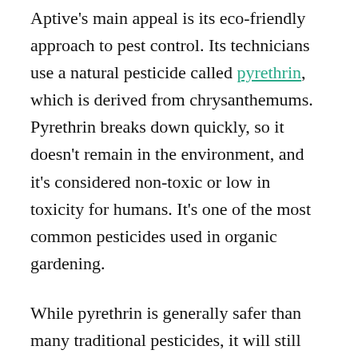Aptive's main appeal is its eco-friendly approach to pest control. Its technicians use a natural pesticide called pyrethrin, which is derived from chrysanthemums. Pyrethrin breaks down quickly, so it doesn't remain in the environment, and it's considered non-toxic or low in toxicity for humans. It's one of the most common pesticides used in organic gardening.
While pyrethrin is generally safer than many traditional pesticides, it will still kill beneficial insects such as bees, butterflies, and ladybugs if they come in contact with the chemical.
At this time, Aptive offers only one plan: The Four-Seasons Protection Plan. The plan includes an initial inspection and four regular pesticide applications